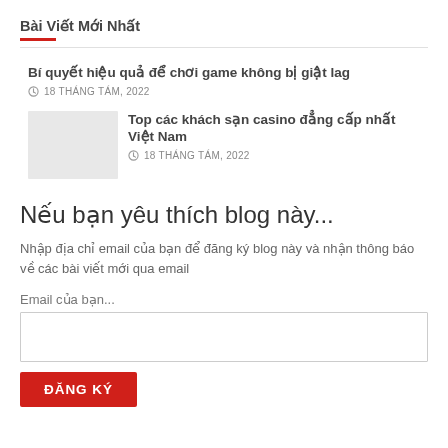Bài Viết Mới Nhất
Bí quyết hiệu quả để chơi game không bị giật lag
18 THÁNG TÁM, 2022
Top các khách sạn casino đẳng cấp nhất Việt Nam
18 THÁNG TÁM, 2022
Nếu bạn yêu thích blog này...
Nhập địa chỉ email của bạn để đăng ký blog này và nhận thông báo về các bài viết mới qua email
Email của bạn...
ĐĂNG KÝ